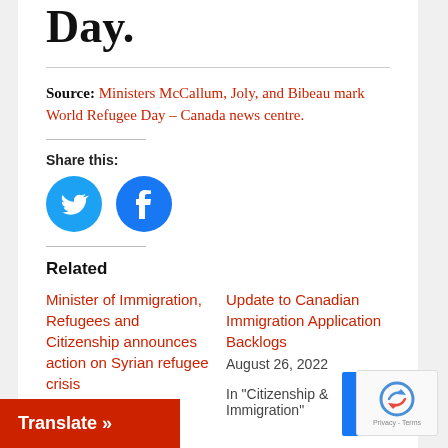Day.
Source: Ministers McCallum, Joly, and Bibeau mark World Refugee Day – Canada news centre.
Share this:
[Figure (illustration): Twitter and Facebook social sharing circular icon buttons]
Related
Minister of Immigration, Refugees and Citizenship announces action on Syrian refugee crisis
2015
Update to Canadian Immigration Application Backlogs
August 26, 2022
In "Citizenship & Immigration"